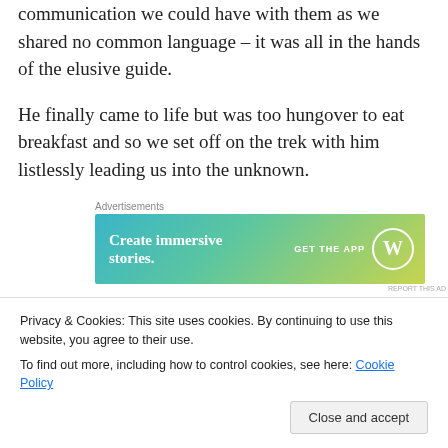communication we could have with them as we shared no common language – it was all in the hands of the elusive guide.
He finally came to life but was too hungover to eat breakfast and so we set off on the trek with him listlessly leading us into the unknown.
[Figure (other): Advertisement banner for WordPress app: 'Create immersive stories. GET THE APP' with WordPress logo on a blue-green-yellow gradient background.]
The aim was to spend eight days walking through
Privacy & Cookies: This site uses cookies. By continuing to use this website, you agree to their use.
To find out more, including how to control cookies, see here: Cookie Policy